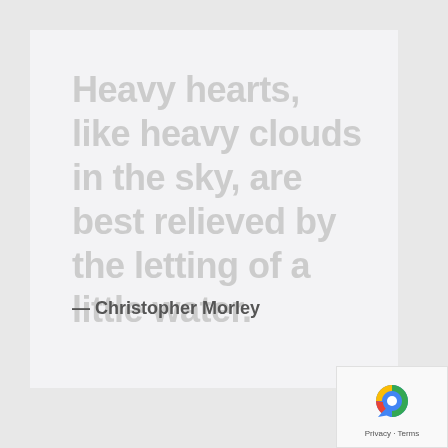Heavy hearts, like heavy clouds in the sky, are best relieved by the letting of a little water.
— Christopher Morley